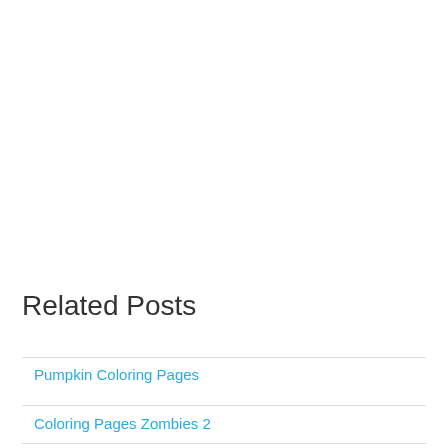Related Posts
Pumpkin Coloring Pages
Coloring Pages Zombies 2